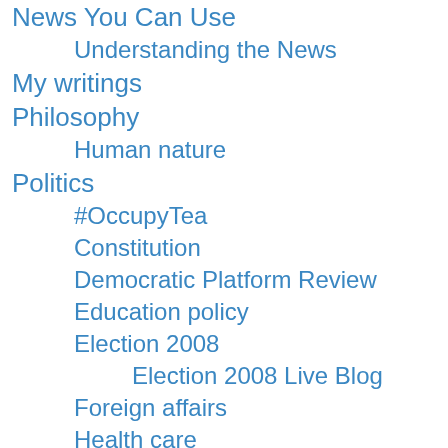News You Can Use
Understanding the News
My writings
Philosophy
Human nature
Politics
#OccupyTea
Constitution
Democratic Platform Review
Education policy
Election 2008
Election 2008 Live Blog
Foreign affairs
Health care
Republican Platform Review